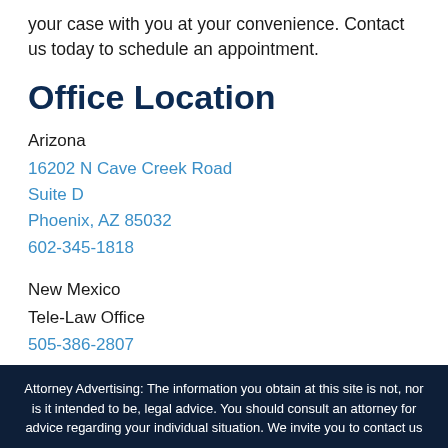your case with you at your convenience. Contact us today to schedule an appointment.
Office Location
Arizona
16202 N Cave Creek Road
Suite D
Phoenix, AZ 85032
602-345-1818
New Mexico
Tele-Law Office
505-386-2807
Attorney Advertising: The information you obtain at this site is not, nor is it intended to be, legal advice. You should consult an attorney for advice regarding your individual situation. We invite you to contact us